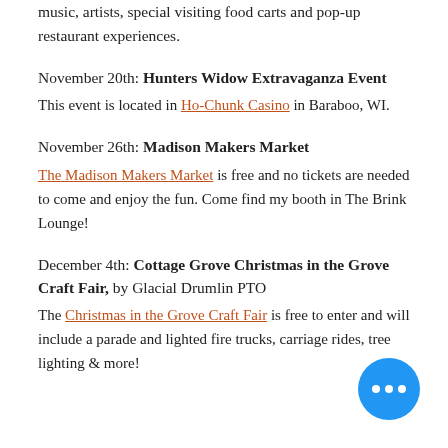music, artists, special visiting food carts and pop-up restaurant experiences.
November 20th: Hunters Widow Extravaganza Event
This event is located in Ho-Chunk Casino in Baraboo, WI.
November 26th: Madison Makers Market
The Madison Makers Market is free and no tickets are needed to come and enjoy the fun. Come find my booth in The Brink Lounge!
December 4th: Cottage Grove Christmas in the Grove Craft Fair, by Glacial Drumlin PTO
The Christmas in the Grove Craft Fair is free to enter and will include a pa... and lighted fire trucks, carriage rid... tree lighting & more!